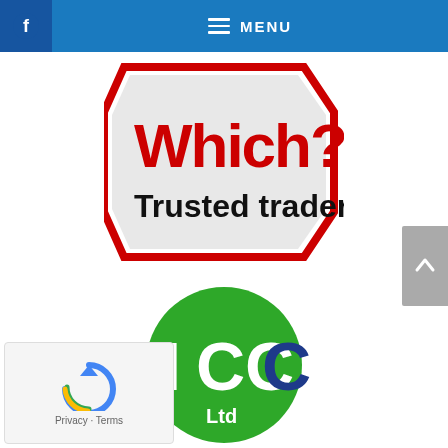[Figure (screenshot): Navigation bar with Facebook button and MENU hamburger icon on blue background]
[Figure (logo): Which? Trusted Trader logo — red bordered hexagon shape with 'Which?' in bold red and 'Trusted trader' below in black]
[Figure (logo): NCC Ltd Business Awards logo — green circle with white NCC text, blue C accent, and 'NCC Ltd' label; below two dark blue horizontal lines with 'BUSINESS AWARDS' text in dark blue bold capitals]